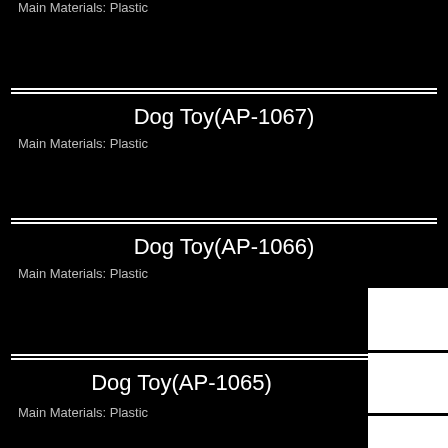Main Materials: Plastic
Dog Toy(AP-1067)
Main Materials: Plastic
Dog Toy(AP-1066)
Main Materials: Plastic
Dog Toy(AP-1065)
Main Materials: Plastic